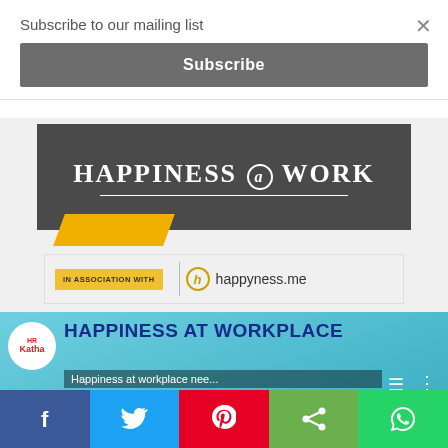Subscribe to our mailing list
Subscribe
[Figure (logo): HAPPINESS@WORK banner with dark grey background and yellow accent]
[Figure (logo): IN ASSOCIATION WITH happyness.me logo banner]
[Figure (screenshot): Video thumbnail: HAPPINESS AT WORKPLACE NEEDS TO BE CONTEXTUALISED with HRKatha logo and play button]
[Figure (logo): HRKatha logo with YouTube play button]
f
Twitter bird icon
Pinterest icon
Share icon
WhatsApp icon